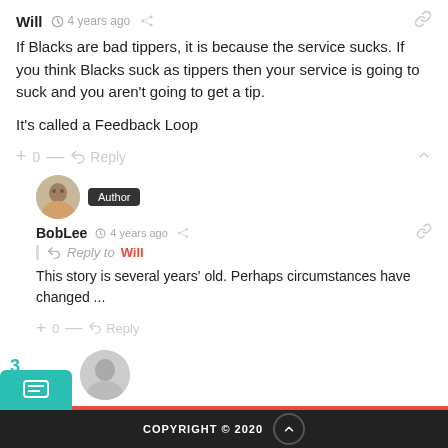Will · 4 years ago
If Blacks are bad tippers, it is because the service sucks. If you think Blacks suck as tippers then your service is going to suck and you aren't going to get a tip.

It's called a Feedback Loop
+ 0 — Reply
Author BobLee · 4 years ago · Reply to Will
This story is several years' old. Perhaps circumstances have changed ...
+ 0 — Reply
COPYRIGHT © 2020